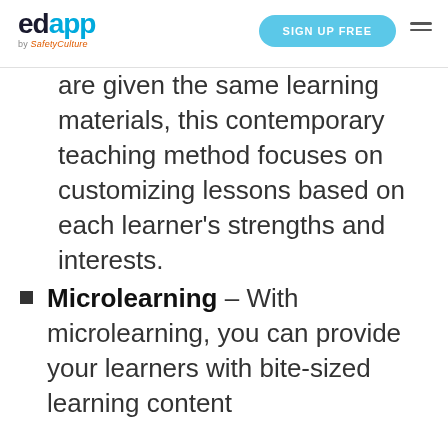edapp by SafetyCulture | SIGN UP FREE
are given the same learning materials, this contemporary teaching method focuses on customizing lessons based on each learner’s strengths and interests.
Microlearning – With microlearning, you can provide your learners with bite-sized learning content